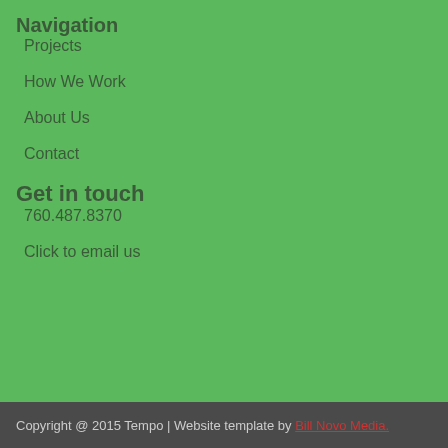Navigation
Projects
How We Work
About Us
Contact
Get in touch
760.487.8370
Click to email us
Copyright @ 2015 Tempo | Website template by Bill Novo Media.